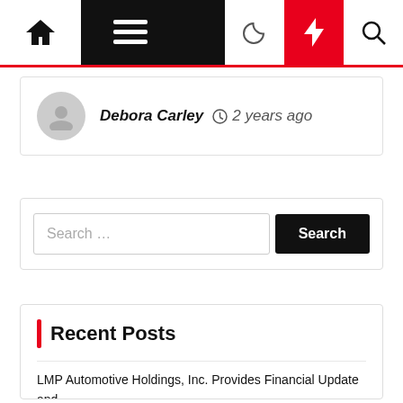Navigation bar with home, menu, dark mode, featured, search icons
Debora Carley  2 years ago
Search ...
Recent Posts
LMP Automotive Holdings, Inc. Provides Financial Update and
SoundHound and LG Partner to Build Automotive Voice Assistant [UPDATED]